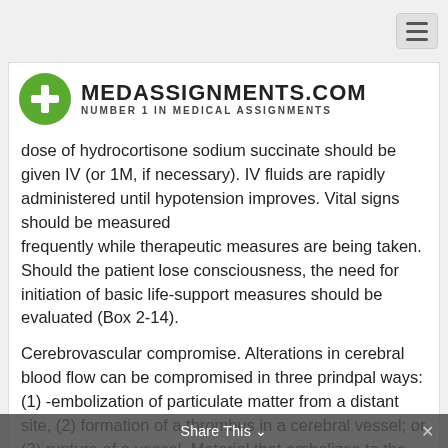[Figure (logo): MedAssignments.com logo with green circle containing a white plus sign, followed by bold text MEDASSIGNMENTS.COM and subtitle NUMBER 1 IN MEDICAL ASSIGNMENTS]
dose of hydrocortisone sodium succinate should be given IV (or 1M, if necessary). IV fluids are rapidly administered until hypotension improves. Vital signs should be measured frequently while therapeutic measures are being taken. Should the patient lose consciousness, the need for initiation of basic life-support measures should be evaluated (Box 2-14).
Cerebrovascular compromise. Alterations in cerebral blood flow can be compromised in three prindpal ways: (1) -embolization of particulate matter from a distant site, (2) formation of a thrombus in a cerebral vessel; or (3) rupture of a vessel. Material that embolizes to the brain comes most frequently from